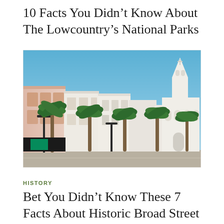10 Facts You Didn’t Know About The Lowcountry’s National Parks
[Figure (photo): Street view of historic downtown Charleston, SC with colorful buildings, palm trees lining the street, and a white church steeple (St. Michael’s Church) visible in the background under a clear blue sky.]
HISTORY
Bet You Didn’t Know These 7 Facts About Historic Broad Street